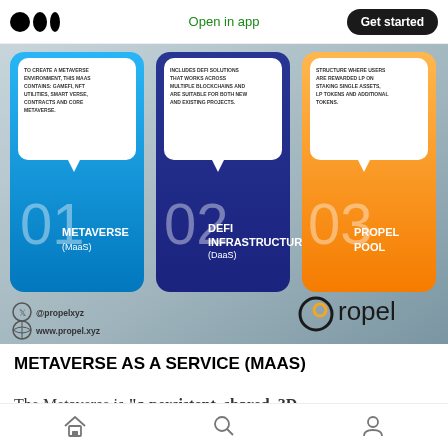Open in app | Get started
[Figure (infographic): Propel platform infographic showing three service pillars: 01 METAVERSE (MaaS) in blue, 02 DEFI INFRASTRUCTURE (DaaS) in dark blue/navy, 03 PROPEL POOL in orange. Each has a speech-bubble callout with descriptive text at the top. Bottom shows @propelxyz and www.propel.xyz social handles and the Propel logo.]
METAVERSE AS A SERVICE (MAAS)
The Metaverse is “a persistent, shared, 3D
Home | Search | Profile